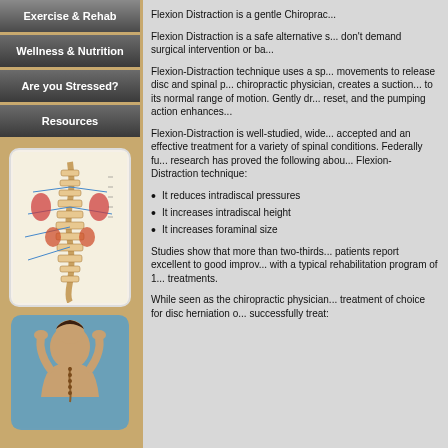Exercise & Rehab
Wellness & Nutrition
Are you Stressed?
Resources
[Figure (illustration): Anatomical illustration of the human spine and nervous system showing the spinal cord, vertebrae, and associated organs]
[Figure (photo): Photo of a person's back showing the spine, person has hands raised behind their head]
Flexion Distraction is a gentle Chiroprac...
Flexion Distraction is a safe alternative... don't demand surgical intervention or ba...
Flexion-Distraction technique uses a sp... movements to release disc and spinal p... chiropractic physician, creates a suction... to its normal range of motion. Gently dr... reset, and the pumping action enhances...
Flexion-Distraction is well-studied, wide... accepted and an effective treatment for... variety of spinal conditions. Federally fu... research has proved the following abou... Flexion-Distraction technique:
It reduces intradiscal pressures
It increases intradiscal height
It increases foraminal size
Studies show that more than two-thirds... patients report excellent to good improv... with a typical rehabilitation program of 1... treatments.
While seen as the chiropractic physician... treatment of choice for disc herniation o... successfully treat: